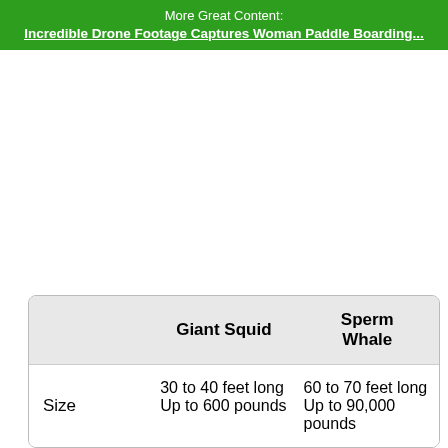More Great Content:
Incredible Drone Footage Captures Woman Paddle Boarding...
|  | Giant Squid | Sperm Whale |
| --- | --- | --- |
| Size | 30 to 40 feet long
Up to 600 pounds | 60 to 70 feet long
Up to 90,000 pounds |